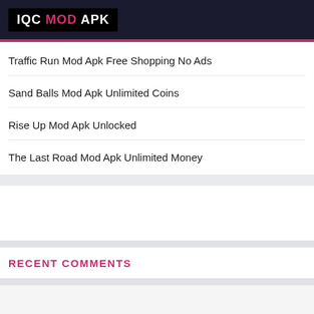IQC MOD APK
Traffic Run Mod Apk Free Shopping No Ads
Sand Balls Mod Apk Unlimited Coins
Rise Up Mod Apk Unlocked
The Last Road Mod Apk Unlimited Money
RECENT COMMENTS